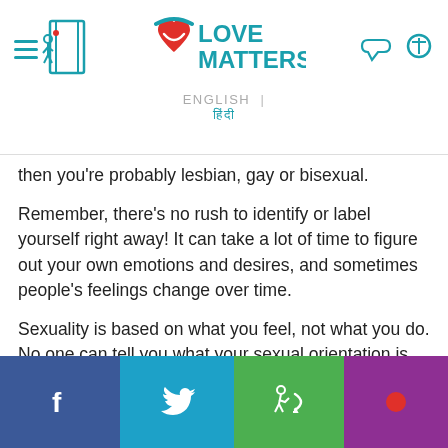LOVE MATTERS — ENGLISH | हिंदी
then you're probably lesbian, gay or bisexual.
Remember, there's no rush to identify or label yourself right away! It can take a lot of time to figure out your own emotions and desires, and sometimes people's feelings change over time.
Sexuality is based on what you feel, not what you do. No one can tell you what your sexual orientation is.
Accepting your sexuality
You may … your sexual … in a …